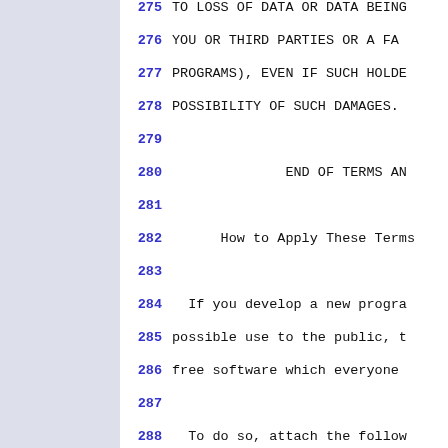275 TO LOSS OF DATA OR DATA BEING
276 YOU OR THIRD PARTIES OR A FA
277 PROGRAMS), EVEN IF SUCH HOLDE
278 POSSIBILITY OF SUCH DAMAGES.
279
280                     END OF TERMS AN
281
282       How to Apply These Terms
283
284   If you develop a new progra
285 possible use to the public, t
286 free software which everyone
287
288   To do so, attach the follow
289 to attach them to the start o
290 convey the exclusion of warra